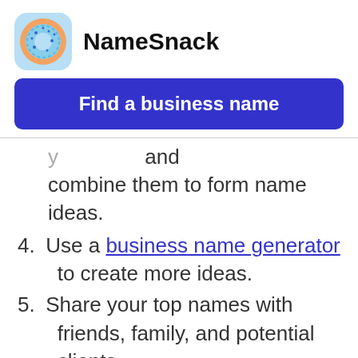[Figure (logo): NameSnack logo — donut icon in a rounded square]
NameSnack
[Figure (screenshot): Blue button with text 'Find a business name']
…y… and combine them to form name ideas.
4. Use a business name generator to create more ideas.
5. Share your top names with friends, family, and potential clients.
6. Check if your preferred name is available.
7. Register the name.